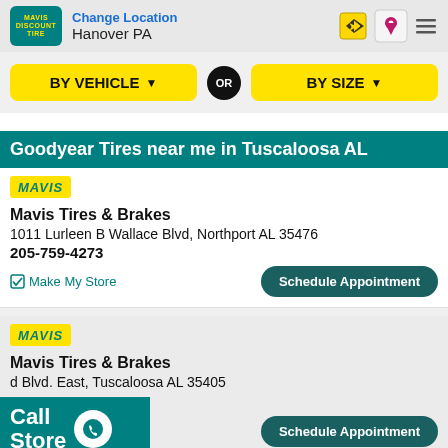Change Location Hanover PA
BY VEHICLE   OR   BY SIZE
Goodyear Tires near me in Tuscaloosa AL
[Figure (logo): Mavis yellow badge logo]
Mavis Tires & Brakes
1011 Lurleen B Wallace Blvd, Northport AL 35476
205-759-4273
Make My Store   Schedule Appointment
[Figure (logo): Mavis yellow badge logo]
Mavis Tires & Brakes
d Blvd. East, Tuscaloosa AL 35405
Call Store   Schedule Appointment